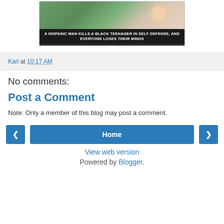[Figure (photo): Meme image showing a Joker-like character with text overlay: 'A HISPANIC MAN KILLS A BLACK TEENAGER IN SELF DEFENSE, AND EVERYONE LOSES THEIR MINDS']
Karl at 10:17 AM
No comments:
Post a Comment
Note: Only a member of this blog may post a comment.
Home
View web version
Powered by Blogger.